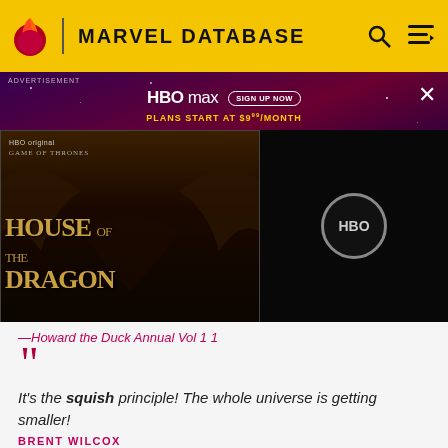MARVEL DATABASE
[Figure (screenshot): HBO Max advertisement banner featuring House of the Dragon promotional image on a dark purple/red starry background. Shows HBO max logo with 'SIGN UP NOW' button and 'PLANS START AT $9.99/MONTH' text. Left side shows House of the Dragon show artwork, right side shows HBO logo on dark background.]
—Howard the Duck Annual Vol 1 1
It's the squish principle! The whole universe is getting smaller!
BRENT WILCOX
—Sensational She-Hulk Vol 1 17